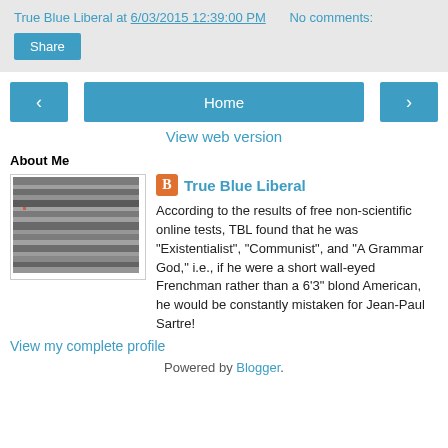True Blue Liberal at 6/03/2015 12:39:00 PM   No comments:
Share
[Figure (other): Navigation bar with left arrow, Home button, and right arrow]
View web version
About Me
[Figure (photo): Static noise TV screen profile image]
True Blue Liberal
According to the results of free non-scientific online tests, TBL found that he was "Existentialist", "Communist", and "A Grammar God," i.e., if he were a short wall-eyed Frenchman rather than a 6'3" blond American, he would be constantly mistaken for Jean-Paul Sartre!
View my complete profile
Powered by Blogger.